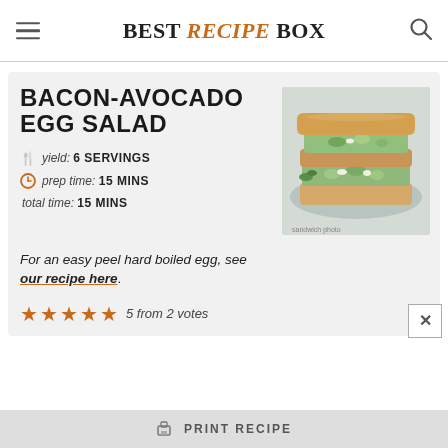BEST RECIPE BOX
BACON-AVOCADO EGG SALAD
[Figure (photo): Stack of bacon-avocado egg salad sandwiches on bread, with herb garnish, on a light plate]
yield: 6 SERVINGS
prep time: 15 MINS
total time: 15 MINS
For an easy peel hard boiled egg, see our recipe here.
5 from 2 votes
PRINT RECIPE